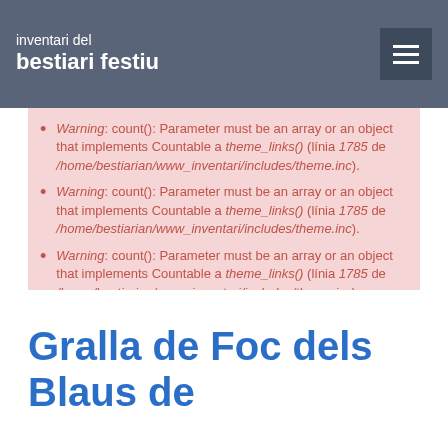inventari del bestiari festiu
Warning: count(): Parameter must be an array or an object that implements Countable a theme_links() (línia 1785 de /home/bestiarian/www_inventari/includes/theme.inc).
Warning: count(): Parameter must be an array or an object that implements Countable a theme_links() (línia 1785 de /home/bestiarian/www_inventari/includes/theme.inc).
Warning: count(): Parameter must be an array or an object that implements Countable a theme_links() (línia 1785 de /home/bestiarian/www_inventari/includes/theme.inc).
Warning: count(): Parameter must be an array or an object that implements Countable a theme_links() (línia 1785 de /home/bestiarian/www_inventari/includes/theme.inc).
Gralla de Foc dels Blaus de